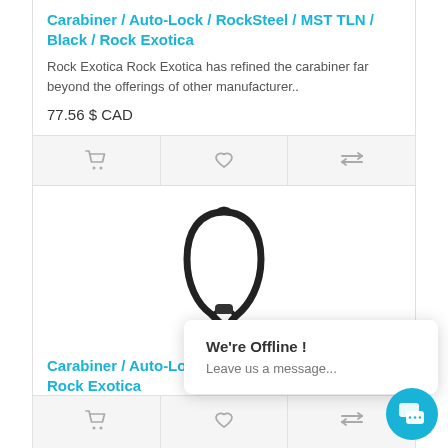Carabiner / Auto-Lock / RockSteel / MST TLN / Black / Rock Exotica
Rock Exotica Rock Exotica has refined the carabiner far beyond the offerings of other manufacturer..
77.56 $ CAD
[Figure (photo): Black carabiner with swivel eye, auto-lock mechanism]
Carabiner / Auto-Lock / SwivaEye / C82 A / Black / Rock Exotica
The SwivaEye is the integ... adv... carabiners with their high...
★★★★★
155.95 $ CAD
We're Offline ! Leave us a message...